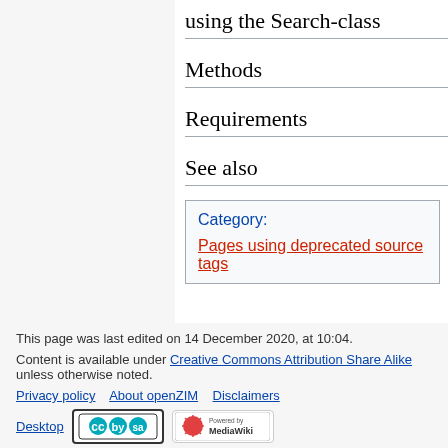using the Search-class
Methods
Requirements
See also
Category: Pages using deprecated source tags
This page was last edited on 14 December 2020, at 10:04. Content is available under Creative Commons Attribution Share Alike unless otherwise noted. Privacy policy   About openZIM   Disclaimers   Desktop